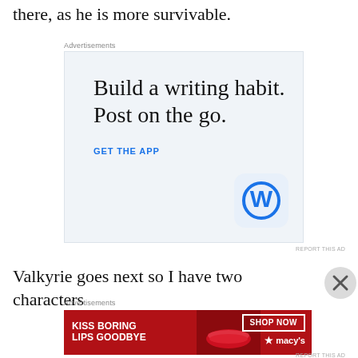there, as he is more survivable.
Advertisements
[Figure (other): WordPress app advertisement: 'Build a writing habit. Post on the go.' with GET THE APP call-to-action and WordPress logo icon]
Valkyrie goes next so I have two characters
Advertisements
[Figure (other): Macy's advertisement: 'KISS BORING LIPS GOODBYE' with SHOP NOW button and Macy's star logo, featuring woman's lips]